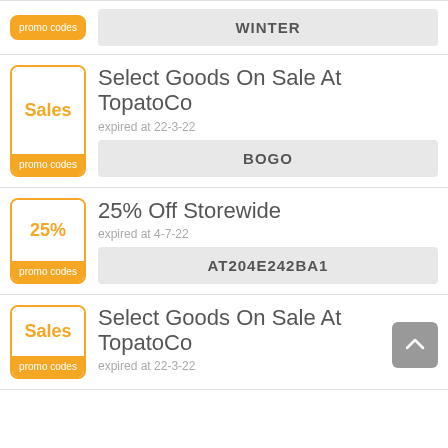promo codes | WINTER
Select Goods On Sale At TopatoCo | expired at 22-3-22 | BOGO
25% Off Storewide | expired at 4-7-22 | AT204E242BA1
Select Goods On Sale At TopatoCo | expired at 22-3-22